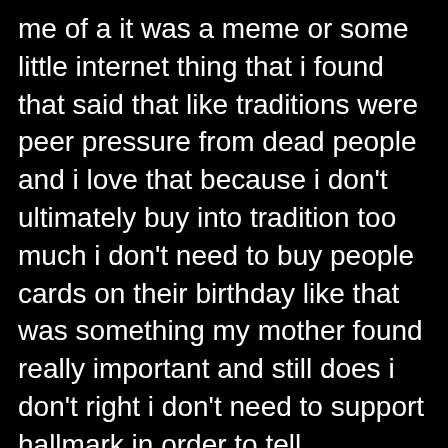me of a it was a meme or some little internet thing that i found that said that like traditions were peer pressure from dead people and i love that because i don't ultimately buy into tradition too much i don't need to buy people cards on their birthday like that was something my mother found really important and still does i don't right i don't need to support hallmark in order to tell somebody i love them on their birthday i think that just doesn't apply to my life right i don't need christmas to look a certain way there's ways i like it to look and there's traditions traditions right that my family and i like to do together we like to do things a similar way sometimes year after year but because it works for us and we enjoy it not because i feel that i'm supposed to right we if